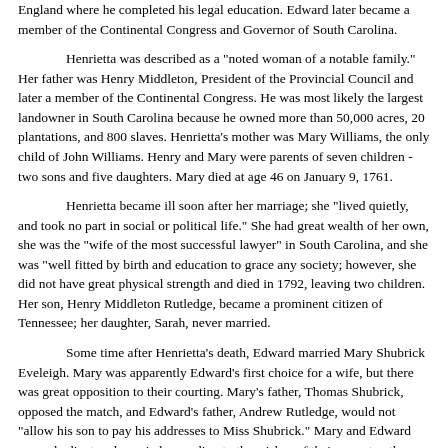England where he completed his legal education.  Edward later became a member of the Continental Congress and Governor of South Carolina.
Henrietta was described as a "noted woman of a notable family."  Her father was Henry Middleton, President of the Provincial Council and later a member of the Continental Congress.  He was most likely the largest landowner in South Carolina because he owned more than 50,000 acres, 20 plantations, and 800 slaves.  Henrietta's mother was Mary Williams, the only child of John Williams.  Henry and Mary were parents of seven children - two sons and five daughters.  Mary died at age 46 on January 9, 1761.
Henrietta became ill soon after her marriage; she "lived quietly, and took no part in social or political life."  She had great wealth of her own, she was the "wife of the most successful lawyer" in South Carolina, and she was "well fitted by birth and education to grace any society; however, she did not have great physical strength and died in 1792, leaving two children.  Her son, Henry Middleton Rutledge, became a prominent citizen of Tennessee; her daughter, Sarah, never married.
Some time after Henrietta's death, Edward married Mary Shubrick Eveleigh.  Mary was apparently Edward's first choice for a wife, but there was great opposition to their courting.  Mary's father, Thomas Shubrick, opposed the match, and Edward's father, Andrew Rutledge, would not "allow his son to pay his addresses to Miss Shubrick."  Mary and Edward were obedient and married according to the wishes of their parents - the usual